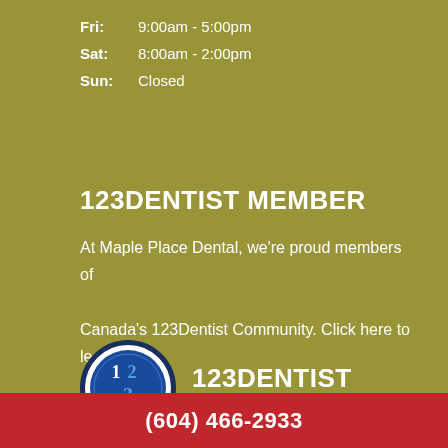Fri:  9:00am - 5:00pm
Sat:  8:00am - 2:00pm
Sun:  Closed
123DENTIST MEMBER
At Maple Place Dental, we're proud members of Canada's 123Dentist Community. Click here to learn more.
[Figure (logo): 123Dentist logo: circular blue badge with 1, 2, 3 numerals and text '123DENTIST We'll make you smile']
(604) 466-2933